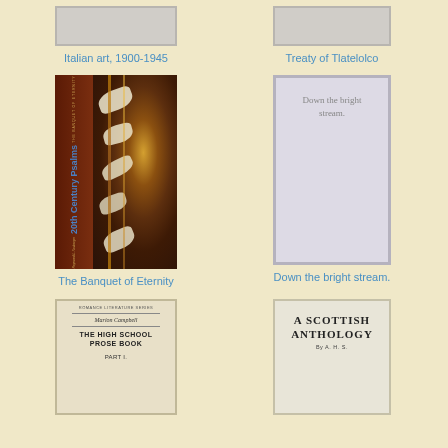[Figure (photo): Partial book cover for Italian art, 1900-1945 (top cropped)]
Italian art, 1900-1945
[Figure (photo): Partial book cover for Treaty of Tlatelolco (top cropped)]
Treaty of Tlatelolco
[Figure (photo): Book cover for The Banquet of Eternity: 20th Century Psalms by Raymond L. Neubarger, with butterfly wing background]
The Banquet of Eternity
[Figure (photo): Placeholder cover for Down the bright stream with text inside]
Down the bright stream.
[Figure (photo): Partial cover of The High School Prose Book, Romance Literature Series, Part I, signed Marion Campbell]
[Figure (photo): Partial cover of A Scottish Anthology by A. H. S.]